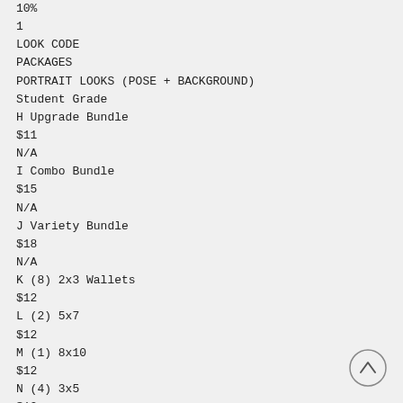10%
1
LOOK CODE
PACKAGES
PORTRAIT LOOKS (POSE + BACKGROUND)
Student Grade
H Upgrade Bundle
$11
N/A
I Combo Bundle
$15
N/A
J Variety Bundle
$18
N/A
K (8) 2x3 Wallets
$12
L (2) 5x7
$12
M (1) 8x10
$12
N (4) 3x5
$12
O CD High and Low Resolution
$15